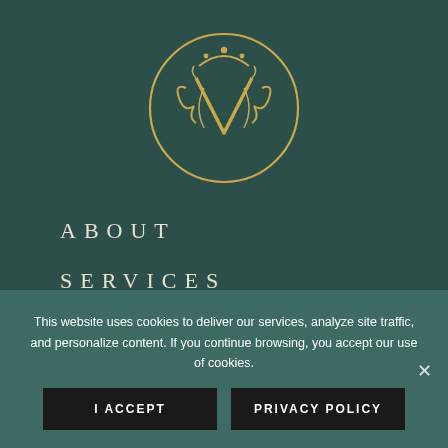[Figure (logo): Circular gold ornamental logo with stylized letter V and decorative crown/flourish elements on dark teal background]
ABOUT
SERVICES
SHOP
This website uses cookies to deliver our services, analyze site traffic, and personalize content. If you continue browsing, you accept our use of cookies.
I ACCEPT
PRIVACY POLICY